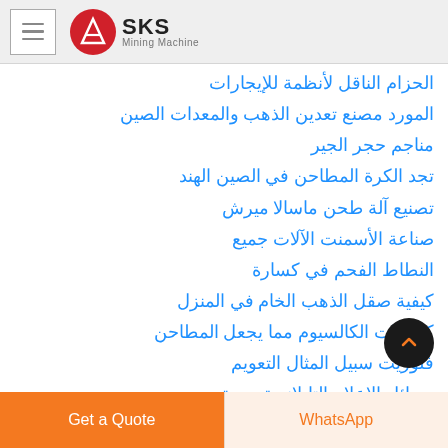SKS Mining Machine
الحزام الناقل لأنظمة للإيجارات
المورد مصنع تعدين الذهب والمعدات الصين
مناجم حجر الجير
تجد الكرة المطاحن في الصين الهند
تصنيع آلة طحن ماسالا ميرش
صناعة الأسمنت الآلات جميع
النطاط الفحم في كسارة
كيفية صقل الذهب الخام في المنزل
كربونات الكالسيوم مما يجعل المطاحن
فلوريت سبيل المثال التعويم
وسائل الإعلام التايلاندية سحق
used asphalt crusher
mobil stone crusher roda
Get a Quote | WhatsApp